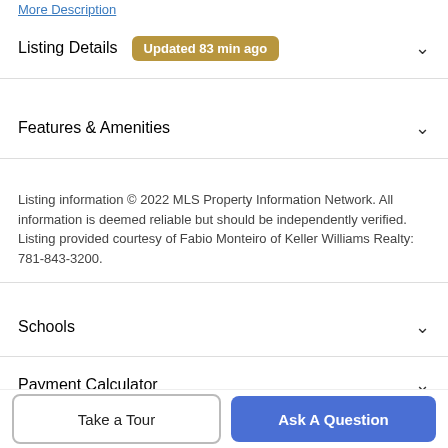More Description
Listing Details  Updated 83 min ago
Features & Amenities
Listing information © 2022 MLS Property Information Network. All information is deemed reliable but should be independently verified. Listing provided courtesy of Fabio Monteiro of Keller Williams Realty: 781-843-3200.
Schools
Payment Calculator
Contact Agent